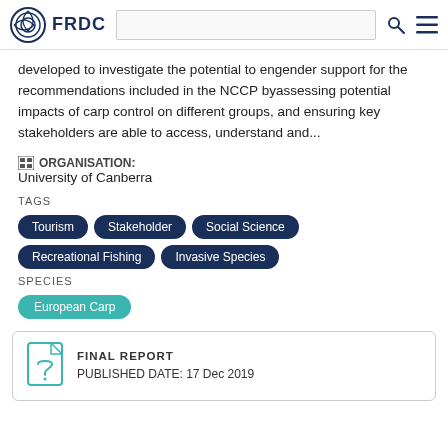FRDC
developed to investigate the potential to engender support for the recommendations included in the NCCP byassessing potential impacts of carp control on different groups, and ensuring key stakeholders are able to access, understand and...
ORGANISATION:
University of Canberra
TAGS
Tourism
Stakeholder
Social Science
Recreational Fishing
Invasive Species
SPECIES
European Carp
FINAL REPORT
PUBLISHED DATE: 17 Dec 2019